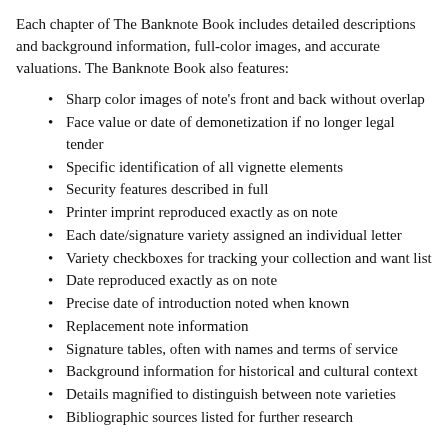Each chapter of The Banknote Book includes detailed descriptions and background information, full-color images, and accurate valuations. The Banknote Book also features:
Sharp color images of note's front and back without overlap
Face value or date of demonetization if no longer legal tender
Specific identification of all vignette elements
Security features described in full
Printer imprint reproduced exactly as on note
Each date/signature variety assigned an individual letter
Variety checkboxes for tracking your collection and want list
Date reproduced exactly as on note
Precise date of introduction noted when known
Replacement note information
Signature tables, often with names and terms of service
Background information for historical and cultural context
Details magnified to distinguish between note varieties
Bibliographic sources listed for further research
Subscribe to The Banknote Book
If you collect the entire world or a large number of countries, buying a subscription is the best deal because it's less expensive than buying chapters individually, and it entitles you to every